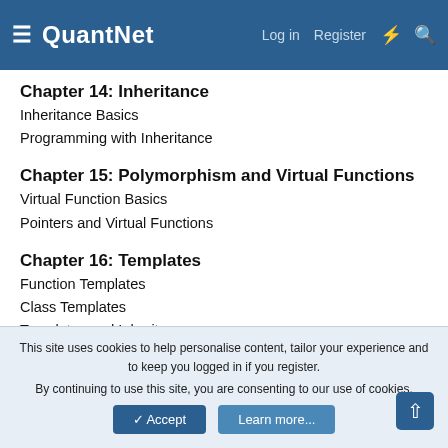QuantNet — Log in  Register
Chapter 14: Inheritance
Inheritance Basics
Programming with Inheritance
Chapter 15: Polymorphism and Virtual Functions
Virtual Function Basics
Pointers and Virtual Functions
Chapter 16: Templates
Function Templates
Class Templates
Templates and Inheritance
Chapter 17: Linked Data Structures
This site uses cookies to help personalise content, tailor your experience and to keep you logged in if you register. By continuing to use this site, you are consenting to our use of cookies.